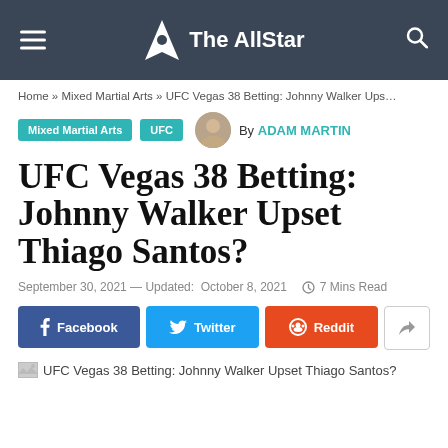The AllStar
Home » Mixed Martial Arts » UFC Vegas 38 Betting: Johnny Walker Ups…
Mixed Martial Arts  UFC  By ADAM MARTIN
UFC Vegas 38 Betting: Johnny Walker Upset Thiago Santos?
September 30, 2021 — Updated: October 8, 2021   7 Mins Read
Facebook  Twitter  Reddit  Share
[Figure (photo): UFC Vegas 38 Betting: Johnny Walker Upset Thiago Santos? article image placeholder]